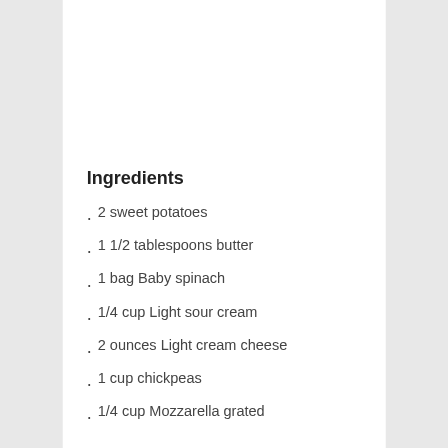Ingredients
2 sweet potatoes
1 1/2 tablespoons butter
1 bag Baby spinach
1/4 cup Light sour cream
2 ounces Light cream cheese
1 cup chickpeas
1/4 cup Mozzarella grated